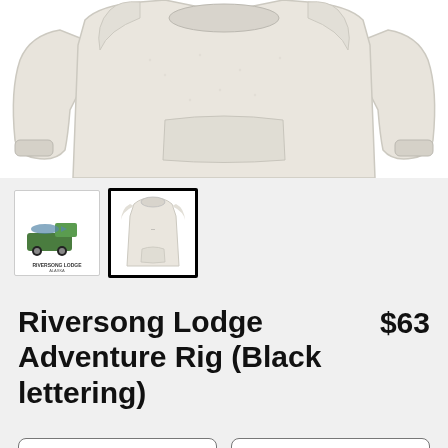[Figure (photo): Main product image showing a light gray/oatmeal pullover hoodie from front and back views against white background]
[Figure (photo): Two product thumbnail images: left shows Riversong Lodge logo with green truck and fish, right shows the oatmeal hoodie (selected, with black border)]
Riversong Lodge Adventure Rig (Black lettering)
$63
Women's
Pullover Hoody
SELECT YOUR FIT